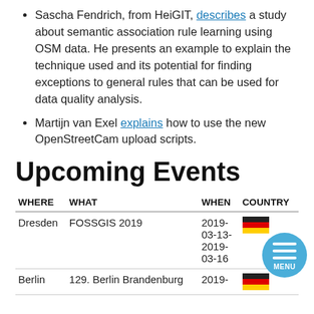Sascha Fendrich, from HeiGIT, describes a study about semantic association rule learning using OSM data. He presents an example to explain the technique used and its potential for finding exceptions to general rules that can be used for data quality analysis.
Martijn van Exel explains how to use the new OpenStreetCam upload scripts.
Upcoming Events
| WHERE | WHAT | WHEN | COUNTRY |
| --- | --- | --- | --- |
| Dresden | FOSSGIS 2019 | 2019-03-13-2019-03-16 | 🇩🇪 |
| Berlin | 129. Berlin Brandenburg | 2019- | 🇩🇪 |